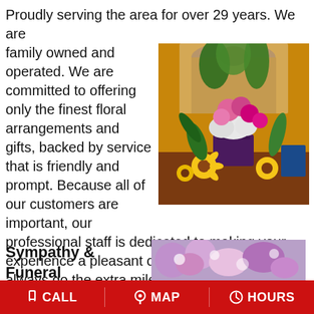Proudly serving the area for over 29 years. We are family owned and operated. We are committed to offering only the finest floral arrangements and gifts, backed by service that is friendly and prompt. Because all of our customers are important, our professional staff is dedicated to making your experience a pleasant one. That is why we always go the extra mile to make your floral gift perfect. Let Numa's Florist be your first choice for flowers.
[Figure (photo): A colorful floral arrangement featuring pink roses, sunflowers, white hydrangeas, and tropical greenery in a square vase, displayed in front of an ornate decorative backdrop.]
Sympathy & Funeral
[Figure (photo): A floral arrangement with purple and pink flowers, partially visible at the bottom of the page.]
CALL   MAP   HOURS